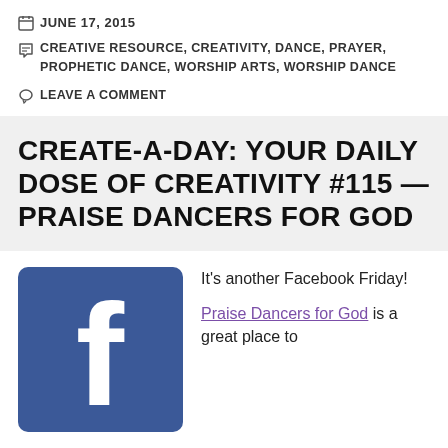JUNE 17, 2015
CREATIVE RESOURCE, CREATIVITY, DANCE, PRAYER, PROPHETIC DANCE, WORSHIP ARTS, WORSHIP DANCE
LEAVE A COMMENT
CREATE-A-DAY: YOUR DAILY DOSE OF CREATIVITY #115 — PRAISE DANCERS FOR GOD
[Figure (logo): Facebook logo — blue square with white lowercase 'f']
It's another Facebook Friday!

Praise Dancers for God is a great place to